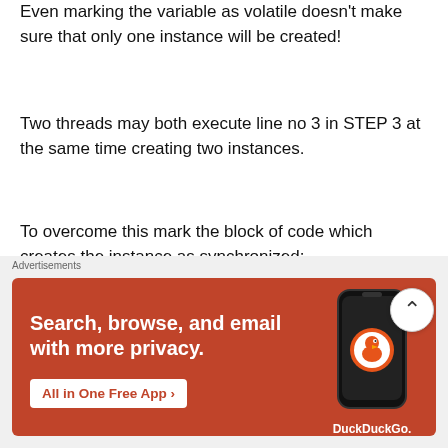Even marking the variable as volatile doesn't make sure that only one instance will be created!
Two threads may both execute line no 3 in STEP 3 at the same time creating two instances.
To overcome this mark the block of code which creates the instance as synchronized:
[Figure (screenshot): Code block with line numbers 1-7 and a green left border. Line 1: public static SuperStar getInstance() Line 4 (indented): if(superStar == null) {]
[Figure (screenshot): DuckDuckGo advertisement banner with orange/red background. Text: Search, browse, and email with more privacy. All in One Free App. Shows phone with DuckDuckGo logo.]